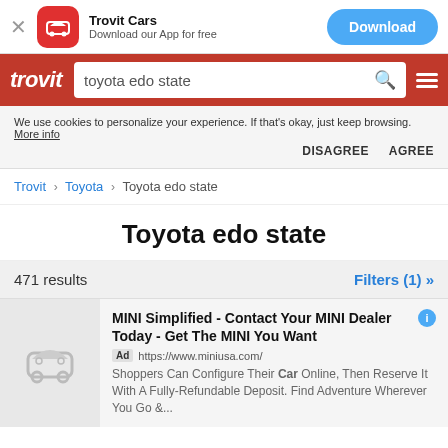[Figure (screenshot): App banner with Trovit Cars logo, Download button, Trovit search bar with 'toyota edo state' query, cookie notice, breadcrumb navigation, page title, results count, and an ad listing for MINI USA.]